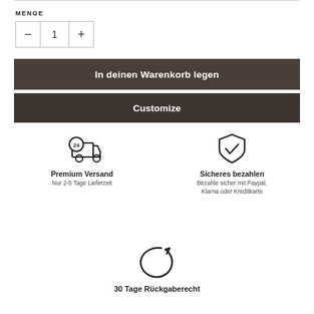MENGE
[Figure (other): Quantity selector with minus button, value 1, and plus button]
[Figure (other): Button: In deinen Warenkorb legen]
[Figure (other): Button: Customize]
[Figure (infographic): Delivery truck with 24h icon - Premium Versand]
Premium Versand
Nur 2-5 Tage Lieferzeit
[Figure (infographic): Shield with checkmark - Sicheres bezahlen]
Sicheres bezahlen
Bezahle sicher mit Paypal, Klarna oder Kreditkarte
[Figure (infographic): Return/refresh arrow icon - 30 Tage Rückgaberecht]
30 Tage Rückgaberecht